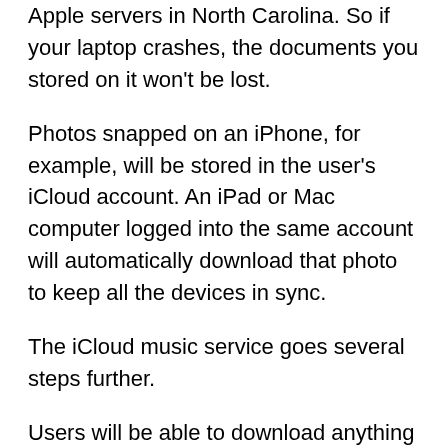Apple servers in North Carolina. So if your laptop crashes, the documents you stored on it won't be lost.
Photos snapped on an iPhone, for example, will be stored in the user's iCloud account. An iPad or Mac computer logged into the same account will automatically download that photo to keep all the devices in sync.
The iCloud music service goes several steps further.
Users will be able to download anything they purchased on the iTunes store to any device they own.
Any digital music that customers create, such as by